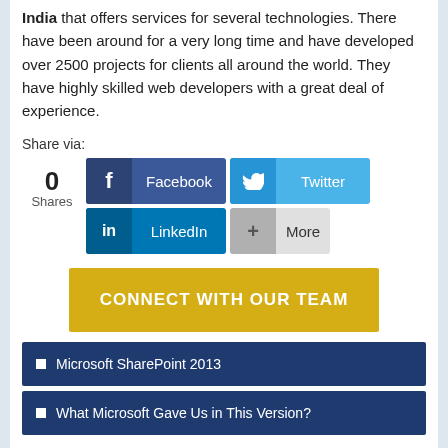India that offers services for several technologies. There have been around for a very long time and have developed over 2500 projects for clients all around the world. They have highly skilled web developers with a great deal of experience.
Share via:
[Figure (infographic): Social sharing buttons: Facebook, Twitter, LinkedIn, More. Shows 0 Shares.]
CONNECT WITH OUR TEAM
Microsoft SharePoint 2013
What Microsoft Gave Us in This Version?